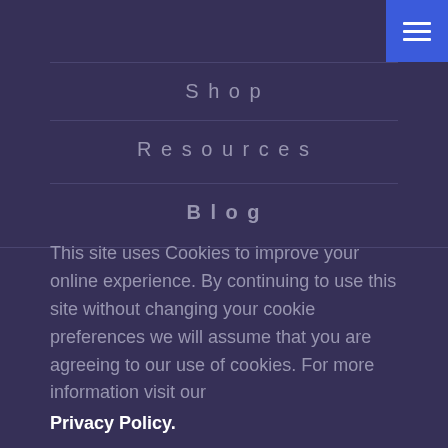Menu button (hamburger icon)
Shop
Resources
Blog
This site uses Cookies to improve your online experience. By continuing to use this site without changing your cookie preferences we will assume that you are agreeing to our use of cookies. For more information visit our Privacy Policy.
Understood